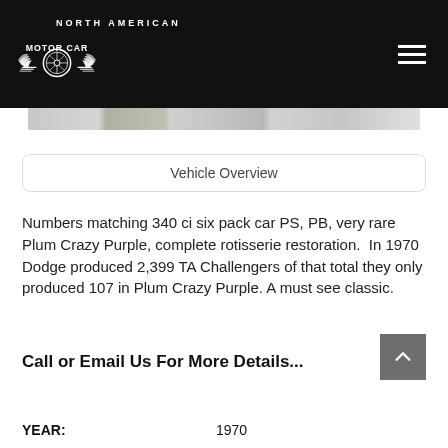[Figure (logo): North American Motor Car logo with winged wheel emblem on black header bar]
[Figure (photo): Thumbnail image strip showing partial car photos]
Vehicle Overview
Numbers matching 340 ci six pack car PS, PB, very rare Plum Crazy Purple, complete rotisserie restoration.  In 1970 Dodge produced 2,399 TA Challengers of that total they only produced 107 in Plum Crazy Purple. A must see classic.
Call or Email Us For More Details...
| YEAR: |  |
| --- | --- |
| YEAR: | 1970 |